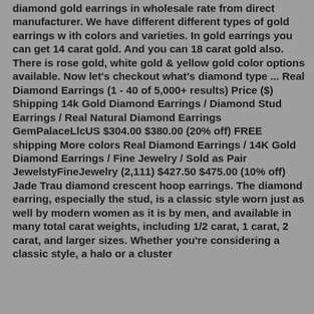diamond gold earrings in wholesale rate from direct manufacturer. We have different different types of gold earrings w ith colors and varieties. In gold earrings you can get 14 carat gold. And you can 18 carat gold also. There is rose gold, white gold & yellow gold color options available. Now let's checkout what's diamond type ... Real Diamond Earrings (1 - 40 of 5,000+ results) Price ($) Shipping 14k Gold Diamond Earrings / Diamond Stud Earrings / Real Natural Diamond Earrings GemPalaceLlcUS $304.00 $380.00 (20% off) FREE shipping More colors Real Diamond Earrings / 14K Gold Diamond Earrings / Fine Jewelry / Sold as Pair JewelstyFineJewelry (2,111) $427.50 $475.00 (10% off) Jade Trau diamond crescent hoop earrings. The diamond earring, especially the stud, is a classic style worn just as well by modern women as it is by men, and available in many total carat weights, including 1/2 carat, 1 carat, 2 carat, and larger sizes. Whether you're considering a classic style, a halo or a cluster